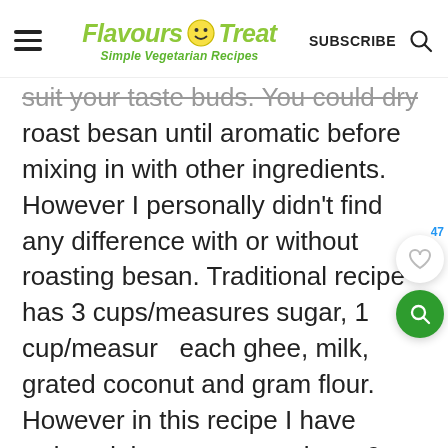Flavours Treat – Simple Vegetarian Recipes | SUBSCRIBE
suit your taste buds. You could dry roast besan until aromatic before mixing in with other ingredients. However I personally didn't find any difference with or without roasting besan. Traditional recipe has 3 cups/measures sugar, 1 cup/measure each ghee, milk, grated coconut and gram flour. However in this recipe I have reduced the sugar quantity to 2 cups and added 1 cup of cashew and